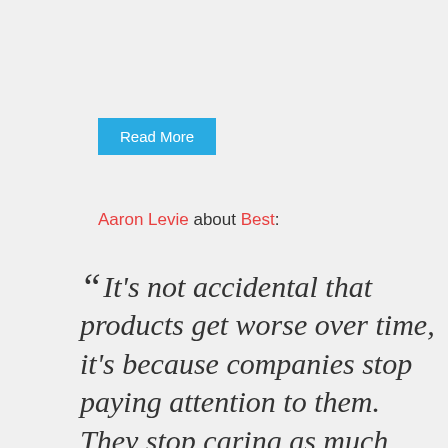Read More
Aaron Levie about Best:
"It's not accidental that products get worse over time, it's because companies stop paying attention to them. They stop caring as much about maintaining the same quality they did when they